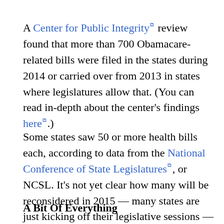A Center for Public Integrity review found that more than 700 Obamacare-related bills were filed in the states during 2014 or carried over from 2013 in states where legislatures allow that. (You can read in-depth about the center's findings here.)
Some states saw 50 or more health bills each, according to data from the National Conference of State Legislatures, or NCSL. It's not yet clear how many will be reconsidered in 2015 — many states are just kicking off their legislative sessions — but few expect any substantial retreat from the battlefront.
A Bit Of Everything